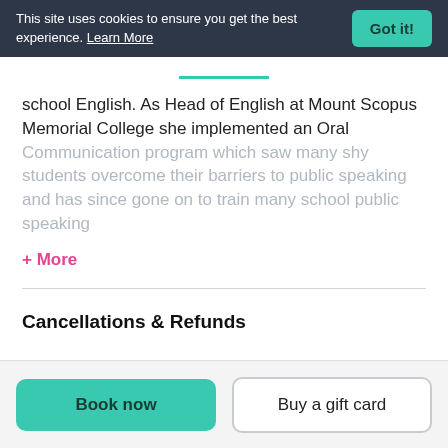This site uses cookies to ensure you get the best experience. Learn More  Got it!
school English. As Head of English at Mount Scopus Memorial College she implemented an Oral Communication program which saw many shy students overcome their barriers to public speaking and has since gone on to train many school public speaking
+ More
Cancellations & Refunds
Book now  Buy a gift card